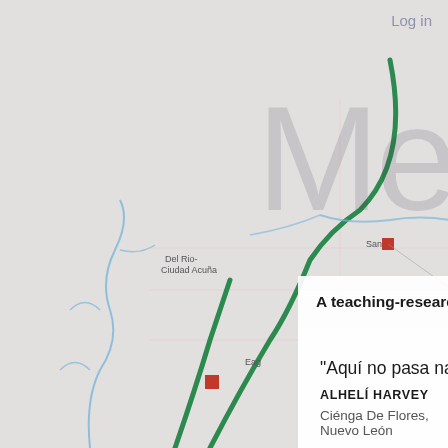[Figure (map): Interactive web map showing the US-Mexico border region. A green line (road/route) runs north-south through the left portion of the map. Blue lines represent rivers. Red squares mark locations. Place names visible include 'Del Rio-Ciudad Acuña', 'Eagle Pass', 'San [Antonio?]'. Pink squares mark additional locations in the lower portion.]
Log in
Me
A teaching-research project map
“Aquí no pasa nada” : Migration
ALHELÍ HARVEY
Ciénga De Flores, Nuevo León